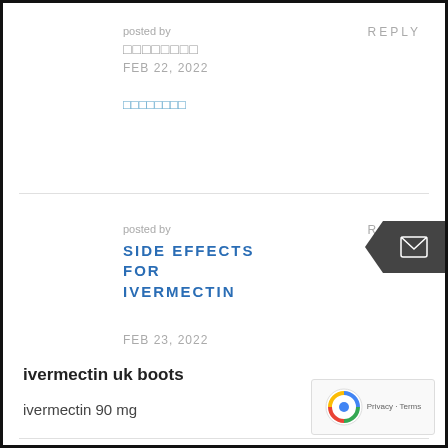posted by
□□□□□□□□
FEB 22, 2022
REPLY
□□□□□□□□
posted by
SIDE EFFECTS FOR IVERMECTIN
FEB 23, 2022
REPLY
ivermectin uk boots
ivermectin 90 mg